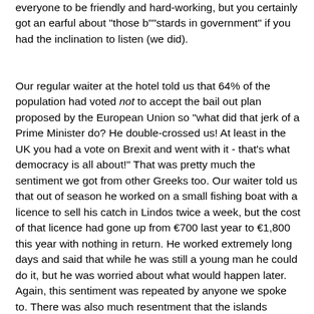everyone to be friendly and hard-working, but you certainly got an earful about "those b"""stards in government" if you had the inclination to listen (we did).
Our regular waiter at the hotel told us that 64% of the population had voted not to accept the bail out plan proposed by the European Union so "what did that jerk of a Prime Minister do? He double-crossed us! At least in the UK you had a vote on Brexit and went with it - that's what democracy is all about!" That was pretty much the sentiment we got from other Greeks too. Our waiter told us that out of season he worked on a small fishing boat with a licence to sell his catch in Lindos twice a week, but the cost of that licence had gone up from €700 last year to €1,800 this year with nothing in return. He worked extremely long days and said that while he was still a young man he could do it, but he was worried about what would happen later. Again, this sentiment was repeated by anyone we spoke to. There was also much resentment that the islands brought in tourist revenue which went straight back to Athens and none of it was reinvested on the islands!